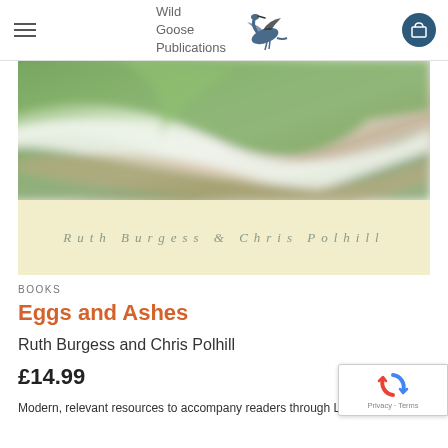Wild Goose Publications
[Figure (photo): Book cover for 'Eggs and Ashes' by Ruth Burgess and Chris Polhill — blurred close-up of green and white leaves on top half, cream/yellow background on bottom half with author names in spaced italic grey lettering: Ruth Burgess & Chris Polhill]
BOOKS
Eggs and Ashes
Ruth Burgess and Chris Polhill
£14.99
Modern, relevant resources to accompany readers through Lent